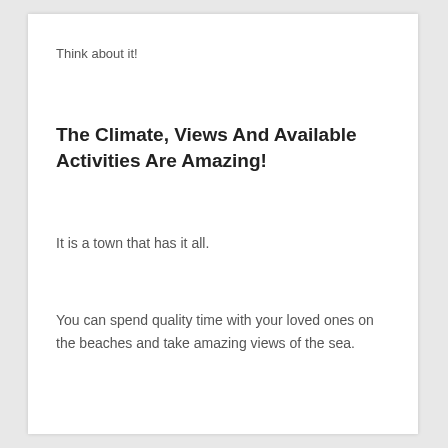Think about it!
The Climate, Views And Available Activities Are Amazing!
It is a town that has it all.
You can spend quality time with your loved ones on the beaches and take amazing views of the sea.